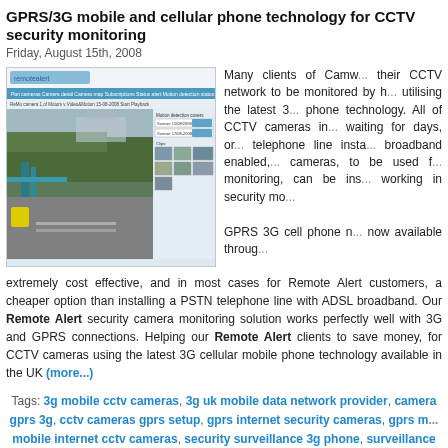GPRS/3G mobile and cellular phone technology for CCTV security monitoring
Friday, August 15th, 2008
[Figure (screenshot): Screenshot of Remote Alert CCTV monitoring web interface showing live camera footage of an outdoor area with parking/road, with thumbnail camera views on the right side]
Many clients of Camw... their CCTV network to be monitored by h... utilising the latest 3... phone technology. All of CCTV cameras in... waiting for days, or... telephone line insta... broadband enabled,... cameras, to be used f... monitoring, can be ins... working in security mo...
GPRS 3G cell phone n... now available throug... extremely cost effective, and in most cases for Remote Alert customers, a cheaper option than installing a PSTN telephone line with ADSL broadband. Our Remote Alert security camera monitoring solution works perfectly well with 3G and GPRS connections. Helping our Remote Alert clients to save money, for CCTV cameras using the latest 3G cellular mobile phone technology available in the UK (more...)
Tags: 3g mobile cctv cameras, 3g uk mobile data network provider, camera gprs 3g, cctv cameras gprs setup, gprs internet security cameras, gprs m... mobile internet cctv cameras, security surveillance 3g phone, surveillance ... void property protection security, void property security, void secu...
Posted in 3G/GPRS CCTV cameras, Mobotix megapixel cameras, Monitor...